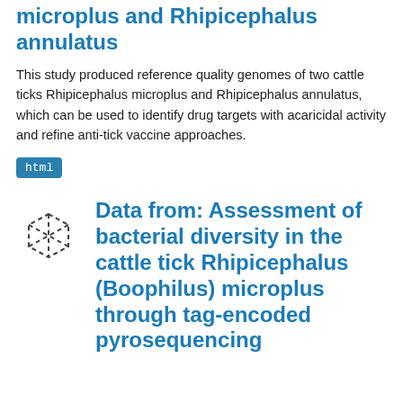microplus and Rhipicephalus annulatus
This study produced reference quality genomes of two cattle ticks Rhipicephalus microplus and Rhipicephalus annulatus, which can be used to identify drug targets with acaricidal activity and refine anti-tick vaccine approaches.
html
Data from: Assessment of bacterial diversity in the cattle tick Rhipicephalus (Boophilus) microplus through tag-encoded pyrosequencing